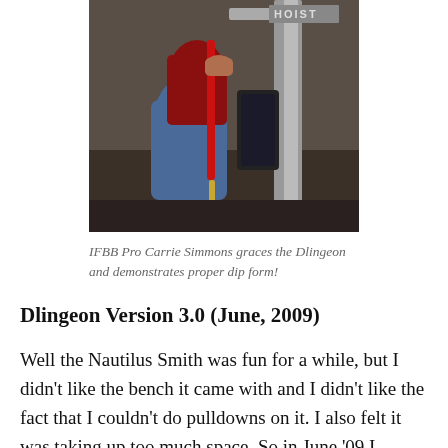[Figure (photo): IFBB Pro Carrie Simmons performing dips on exercise equipment (Hoist brand), showing proper dip form in a gym setting.]
IFBB Pro Carrie Simmons graces the Dlingeon and demonstrates proper dip form!
Dlingeon Version 3.0 (June, 2009)
Well the Nautilus Smith was fun for a while, but I didn't like the bench it came with and I didn't like the fact that I couldn't do pulldowns on it. I also felt it was taking up too much space. So in June '09 I decided to sell it and replace it with a